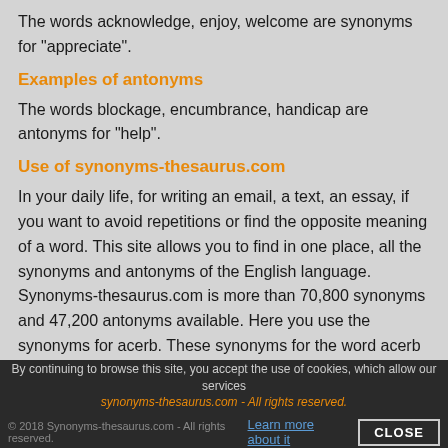The words acknowledge, enjoy, welcome are synonyms for "appreciate".
Examples of antonyms
The words blockage, encumbrance, handicap are antonyms for "help".
Use of synonyms-thesaurus.com
In your daily life, for writing an email, a text, an essay, if you want to avoid repetitions or find the opposite meaning of a word. This site allows you to find in one place, all the synonyms and antonyms of the English language. Synonyms-thesaurus.com is more than 70,800 synonyms and 47,200 antonyms available. Here you use the synonyms for acerb. These synonyms for the word acerb are provided for your information only.
By continuing to browse this site, you accept the use of cookies, which allow our services work properly. Learn more about it CLOSE © 2018 Synonyms-thesaurus.com - All rights reserved.